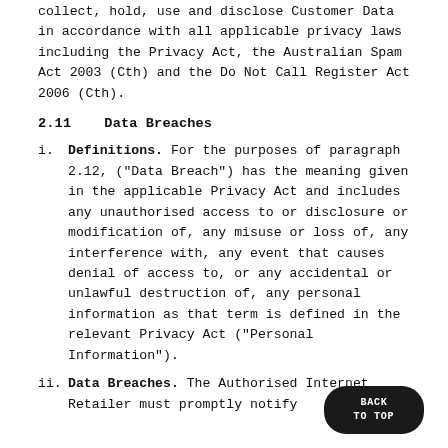collect, hold, use and disclose Customer Data in accordance with all applicable privacy laws including the Privacy Act, the Australian Spam Act 2003 (Cth) and the Do Not Call Register Act 2006 (Cth).
2.11    Data Breaches
i.    Definitions. For the purposes of paragraph 2.12, ("Data Breach") has the meaning given in the applicable Privacy Act and includes any unauthorised access to or disclosure or modification of, any misuse or loss of, any interference with, any event that causes denial of access to, or any accidental or unlawful destruction of, any personal information as that term is defined in the relevant Privacy Act ("Personal Information").
ii.    Data Breaches. The Authorised Internet Retailer must promptly notify